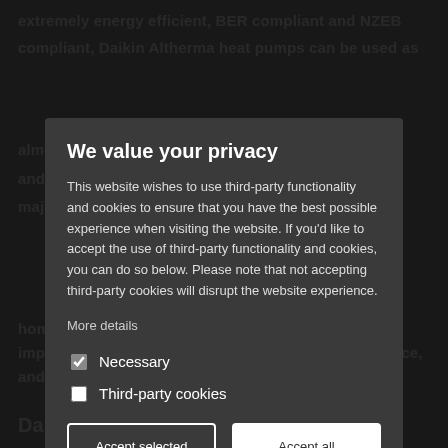extremely energy efficient, BER compliant and NZEB compliant, Daikin Altherma heat pumps can be used as
almost any property to provide advanced heat and ventilation that out performs the majority of other heating systems on the market is home heat recovery benefits in your home, improving air quality, comfort and bringing compliance, and enhanced water heating outside sites
We value your privacy
This website wishes to use third-party functionality and cookies to ensure that you have the best possible experience when visiting the website. If you'd like to accept the use of third-party functionality and cookies, you can do so below. Please note that not accepting third-party cookies will disrupt the website experience.
More details
Necessary
Third-party cookies
Accept selected
Accept all
Daikin Air Filtration Systems